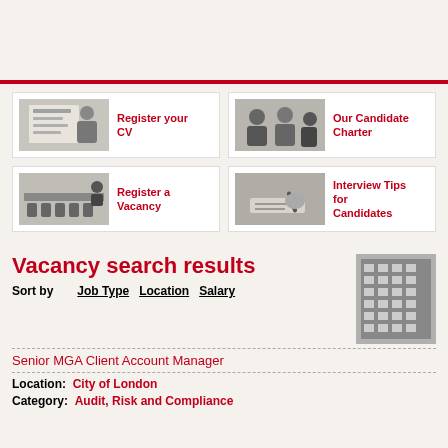[Figure (photo): Person reviewing documents - Register your CV]
Register your CV
[Figure (photo): People in meeting - Our Candidate Charter]
Our Candidate Charter
[Figure (photo): Conference room - Register a Vacancy]
Register a Vacancy
[Figure (photo): Person writing - Interview Tips for Candidates]
Interview Tips for Candidates
Vacancy search results
Sort by  Job Type  Location  Salary
[Figure (photo): Black and white photo of tall city building]
Senior MGA Client Account Manager
Location:  City of London
Category:  Audit, Risk and Compliance